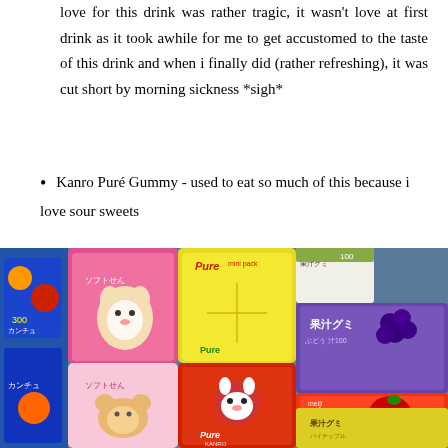love for this drink was rather tragic, it wasn't love at first drink as it took awhile for me to get accustomed to the taste of this drink and when i finally did (rather refreshing), it was cut short by morning sickness *sigh*
Kanro Puré Gummy - used to eat so much of this because i love sour sweets
[Figure (photo): Photo of Japanese candy and snack packages displayed on a store shelf, including Kanro Puré gummy packages in yellow and red, Soft Senbei (ソフトせん) pink packages with Rilakkuma characters, Meiji grape and apple gummy packages, and other Japanese snack bags.]